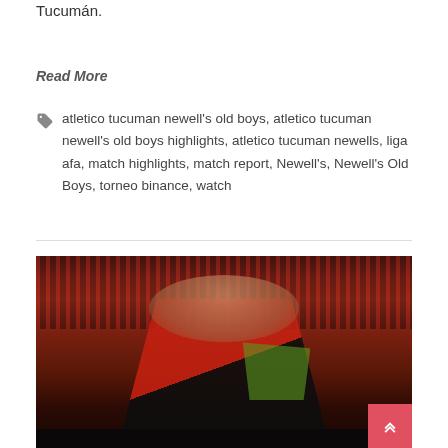Tucumán.
Read More
atletico tucuman newell's old boys, atletico tucuman newell's old boys highlights, atletico tucuman newells, liga afa, match highlights, match report, Newell's, Newell's Old Boys, torneo binance, watch
[Figure (photo): A Newell's Old Boys football player in a red and black jersey (CityCenter sponsor) with hands on head, mouth open in reaction, appearing to celebrate or react emotionally during a match.]